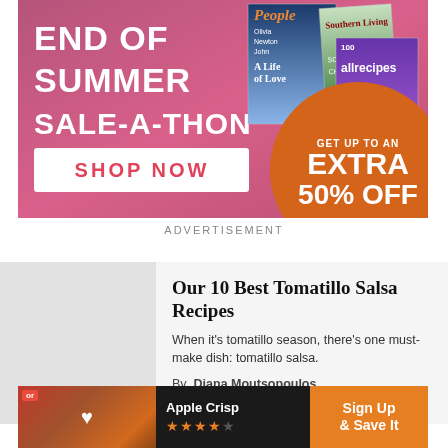[Figure (infographic): End of Summer Sale-a-Thon advertisement banner with magazine covers (People, Southern Living, Allrecipes), Shop Now button, and orange circle with Get Up to an Extra 50% Off text. Pink/magenta gradient background.]
ADVERTISEMENT
[Figure (infographic): Article card with gray image placeholder on left and article info on right. Title: Our 10 Best Tomatillo Salsa Recipes. Description: When it's tomatillo season, there's one must-make dish: tomatillo salsa. By Diana Moutsopoulos.]
Our 10 Best Tomatillo Salsa Recipes
When it's tomatillo season, there's one must-make dish: tomatillo salsa.
By  Diana Moutsopoulos
[Figure (infographic): Bottom advertisement banner: Apple Crisp recipe card with food image, heart icon, star rating, and Sign Up & Save It orange button on black background.]